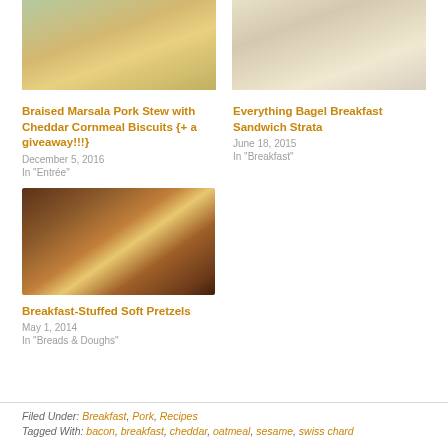[Figure (photo): Food photo top left - Braised Marsala Pork Stew with Cheddar Cornmeal Biscuits dish]
[Figure (photo): Food photo top right - Everything Bagel Breakfast Sandwich Strata dish]
Braised Marsala Pork Stew with Cheddar Cornmeal Biscuits {+ a giveaway!!!}
December 5, 2016
In "Entrée"
Everything Bagel Breakfast Sandwich Strata
June 18, 2015
In "Breakfast"
[Figure (photo): Food photo - Breakfast-Stuffed Soft Pretzels, cross-section showing filling inside a pretzel]
Breakfast-Stuffed Soft Pretzels
May 1, 2014
In "Breads & Doughs"
Filed Under: Breakfast, Pork, Recipes
Tagged With: bacon, breakfast, cheddar, oatmeal, sesame, swiss chard